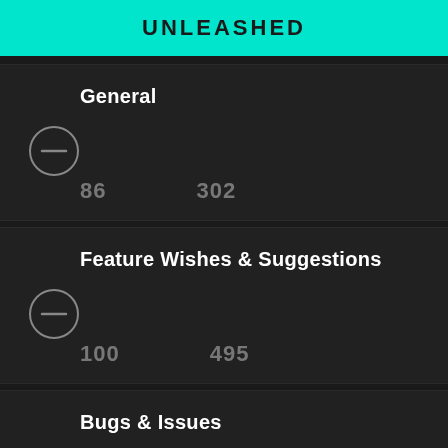UNLEASHED
General
86   302
Feature Wishes & Suggestions
100   495
Bugs & Issues
307   1576